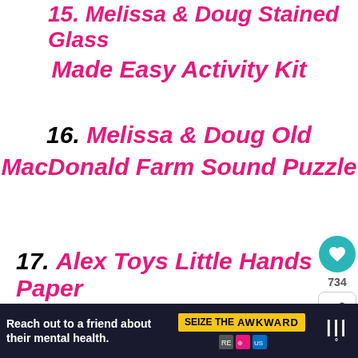15. Melissa & Doug Stained Glass Made Easy Activity Kit
16. Melissa & Doug Old MacDonald Farm Sound Puzzle
17. Alex Toys Little Hands Paper Bag Puppets
[Figure (other): Advertisement banner: 'Reach out to a friend about their mental health. SEIZE THE AWKWARD']